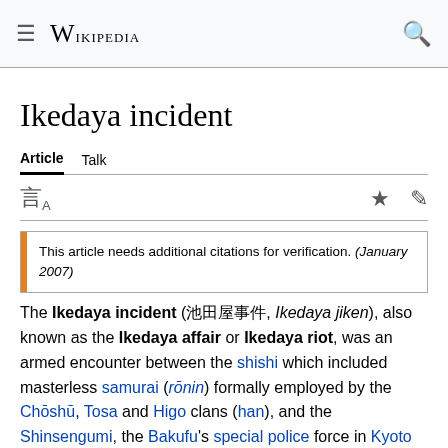Wikipedia
Ikedaya incident
Article  Talk
This article needs additional citations for verification. (January 2007)
The Ikedaya incident (池田屋事件, Ikedaya jiken), also known as the Ikedaya affair or Ikedaya riot, was an armed encounter between the shishi which included masterless samurai (rōnin) formally employed by the Chōshū, Tosa and Higo clans (han), and the Shinsengumi, the Bakufu's special police force in Kyoto on July 8, 1864 at the Ikedaya Inn in Sanjō-Kawaramachi, Kyoto, Japan.